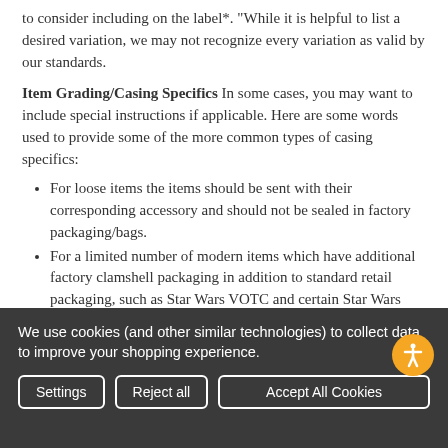to consider including on the label*. "While it is helpful to list a desired variation, we may not recognize every variation as valid by our standards.
Item Grading/Casing Specifics In some cases, you may want to include special instructions if applicable. Here are some words used to provide some of the more common types of casing specifics:
For loose items the items should be sent with their corresponding accessory and should not be sealed in factory packaging/bags.
For a limited number of modern items which have additional factory clamshell packaging in addition to standard retail packaging, such as Star Wars VOTC and certain Star Wars and GI Joe exclusives, the words in
We use cookies (and other similar technologies) to collect data to improve your shopping experience.